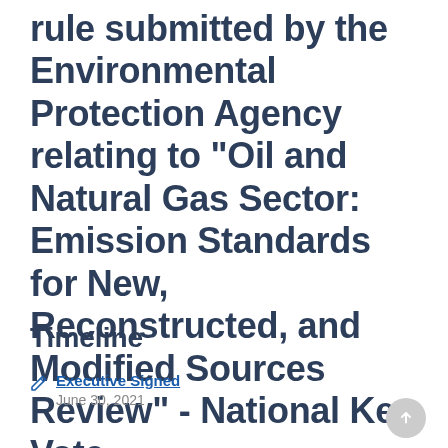rule submitted by the Environmental Protection Agency relating to "Oil and Natural Gas Sector: Emission Standards for New, Reconstructed, and Modified Sources Review" - National Key Vote
Timeline
Executive Signed — June 30, 2021